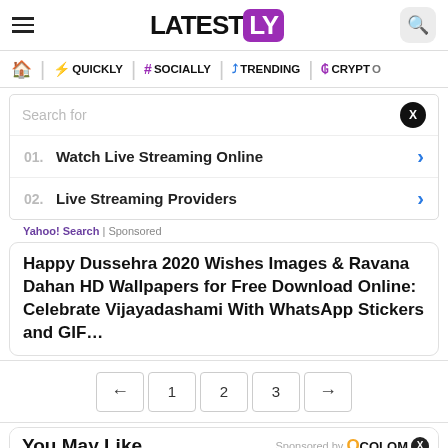LATESTLY
QUICKLY | # SOCIALLY | TRENDING | CRYPTO
Search for
01. Watch Live Streaming Online
02. Live Streaming Providers
Yahoo! Search | Sponsored
Happy Dussehra 2020 Wishes Images & Ravana Dahan HD Wallpapers for Free Download Online: Celebrate Vijayadashami With WhatsApp Stickers and GIF…
← 1 2 3 →
You May Like
Sponsored by COLOMX
[Figure (photo): Photo of bullets/crayons with LatestLY badge overlay]